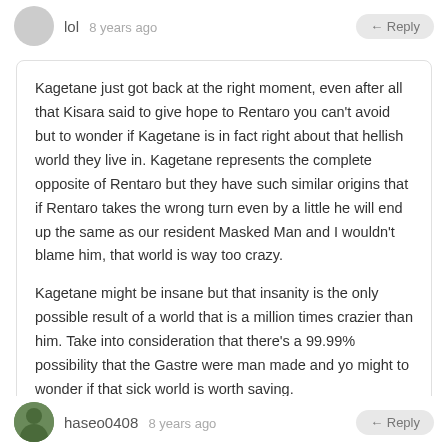lol   8 years ago   ← Reply
Kagetane just got back at the right moment, even after all that Kisara said to give hope to Rentaro you can't avoid but to wonder if Kagetane is in fact right about that hellish world they live in. Kagetane represents the complete opposite of Rentaro but they have such similar origins that if Rentaro takes the wrong turn even by a little he will end up the same as our resident Masked Man and I wouldn't blame him, that world is way too crazy.

Kagetane might be insane but that insanity is the only possible result of a world that is a million times crazier than him. Take into consideration that there's a 99.99% possibility that the Gastre were man made and yo might to wonder if that sick world is worth saving.
haseo0408   8 years ago   ← Reply